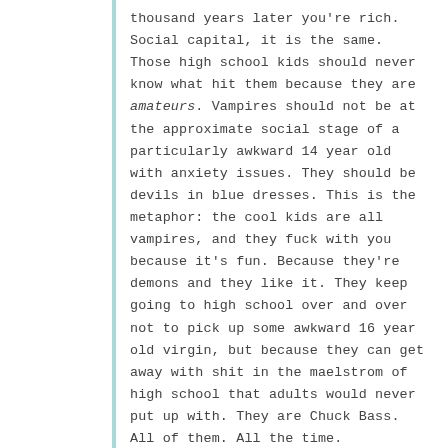thousand years later you're rich. Social capital, it is the same. Those high school kids should never know what hit them because they are amateurs. Vampires should not be at the approximate social stage of a particularly awkward 14 year old with anxiety issues. They should be devils in blue dresses. This is the metaphor: the cool kids are all vampires, and they fuck with you because it's fun. Because they're demons and they like it. They keep going to high school over and over not to pick up some awkward 16 year old virgin, but because they can get away with shit in the maelstrom of high school that adults would never put up with. They are Chuck Bass. All of them. All the time.